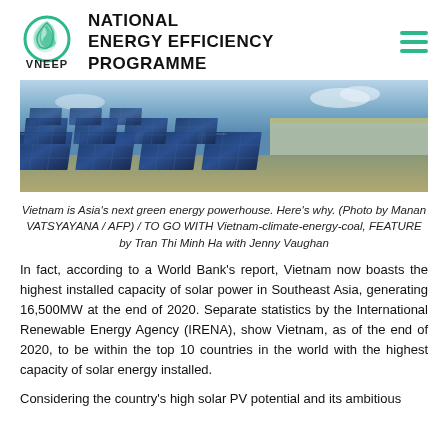NATIONAL ENERGY EFFICIENCY PROGRAMME
[Figure (photo): Solar panels installed in rows outdoors, with a building in the background under a partly cloudy sky.]
Vietnam is Asia's next green energy powerhouse. Here's why. (Photo by Manan VATSYAYANA / AFP) / TO GO WITH Vietnam-climate-energy-coal, FEATURE by Tran Thi Minh Ha with Jenny Vaughan
In fact, according to a World Bank's report, Vietnam now boasts the highest installed capacity of solar power in Southeast Asia, generating 16,500MW at the end of 2020. Separate statistics by the International Renewable Energy Agency (IRENA), show Vietnam, as of the end of 2020, to be within the top 10 countries in the world with the highest capacity of solar energy installed.
Considering the country's high solar PV potential and its ambitious